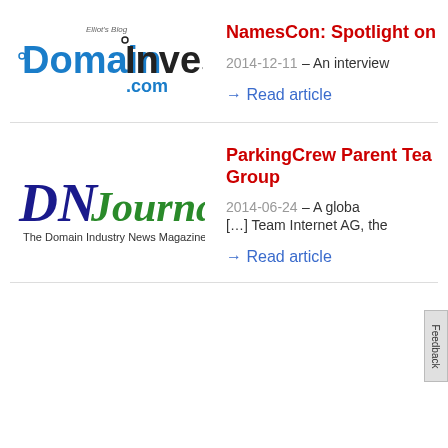[Figure (logo): DomainInvesting.com blog logo with Elliot's Blog text above]
NamesCon: Spotlight on
2014-12-11 – An interview
→ Read article
[Figure (logo): DN Journal - The Domain Industry News Magazine logo]
ParkingCrew Parent Tea Group
2014-06-24 – A globa [...] Team Internet AG, the
→ Read article